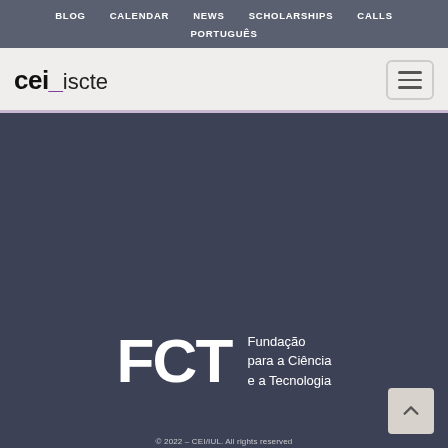BLOG  CALENDAR  NEWS  SCHOLARSHIPS  CALLS  PORTUGUÊS
[Figure (logo): CEI_iscte logo with hamburger menu button on the right]
[Figure (logo): FCT logo — Fundação para a Ciência e a Tecnologia, white text on dark blue-grey background]
© 2022 – CEI/IUL. All rights reserved